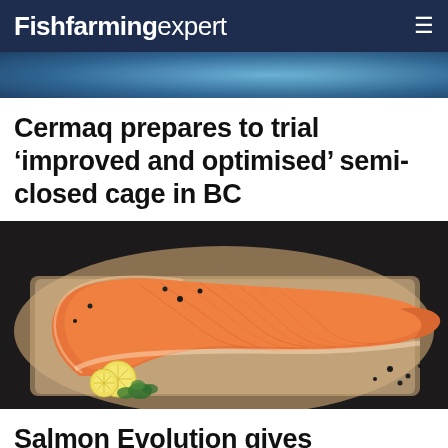Fishfarming expert
[Figure (photo): Partial view of a circular fish farming tank or equipment, blue tones]
Cermaq prepares to trial 'improved and optimised' semi-closed cage in BC
[Figure (photo): A salmon fillet on brown paper with lemon slices and parsley garnish on a dark background with peppercorns]
Salmon Evolution gives